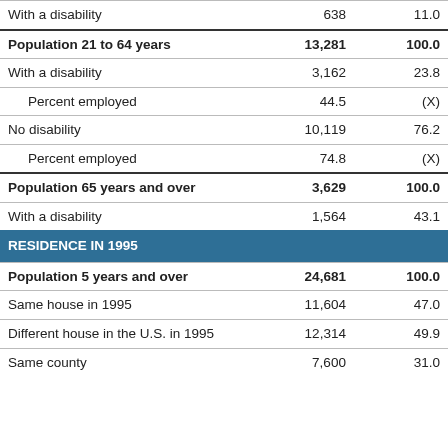|  |  |  |
| --- | --- | --- |
| With a disability | 638 | 11.0 |
| Population 21 to 64 years | 13,281 | 100.0 |
| With a disability | 3,162 | 23.8 |
| Percent employed | 44.5 | (X) |
| No disability | 10,119 | 76.2 |
| Percent employed | 74.8 | (X) |
| Population 65 years and over | 3,629 | 100.0 |
| With a disability | 1,564 | 43.1 |
| RESIDENCE IN 1995 |  |  |
| Population 5 years and over | 24,681 | 100.0 |
| Same house in 1995 | 11,604 | 47.0 |
| Different house in the U.S. in 1995 | 12,314 | 49.9 |
| Same county | 7,600 | 31.0 |